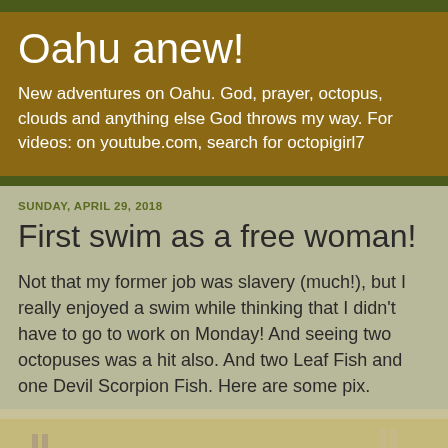Oahu anew!
New adventures on Oahu. God, prayer, octopus, clouds and anything else God throws my way. For videos: on youtube.com, search for octopigirl7
SUNDAY, APRIL 29, 2018
First swim as a free woman!
Not that my former job was slavery (much!), but I really enjoyed a swim while thinking that I didn't have to go to work on Monday! And seeing two octopuses was a hit also. And two Leaf Fish and one Devil Scorpion Fish. Here are some pix.
[Figure (photo): Beach scene with people standing on rocky shore, a seal resting on the sand near the water's edge, with ocean in the foreground]